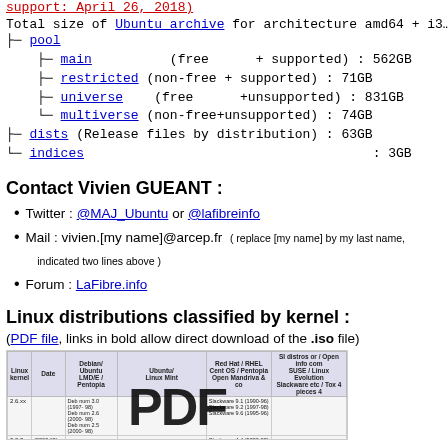support: April 26, 2018)
Total size of Ubuntu archive for architecture amd64 + i386:
pool
main (free + supported) : 562GB
restricted (non-free + supported) : 71GB
universe (free +unsupported) : 831GB
multiverse (non-free+unsupported) : 74GB
dists (Release files by distribution) : 63GB
indices : 3GB
Contact Vivien GUEANT :
Twitter : @MAJ_Ubuntu or @lafibreinfo
Mail : vivien.[my name]@arcep.fr ( replace [my name] by my last name, indicated two lines above )
Forum : LaFibre.info
Linux distributions classified by kernel :
(PDF file, links in bold allow direct download of the .iso file)
[Figure (table-as-image): Table showing Linux distributions classified by kernel version, partially obscured by large PDF text overlay]